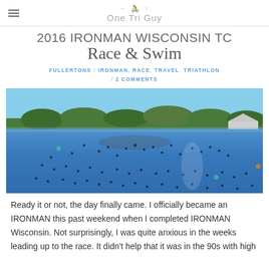One Tri Guy
2016 IRONMAN WISCONSIN TC Race & Swim
FULLERTONS / IRONMAN, RACE, TRAVEL, TRIATHLON / 2 COMMENTS
[Figure (photo): Aerial/wide view of a lake with many swimmers visible during an IRONMAN triathlon swim start, with green trees and a building visible on the far shore under a clear blue sky.]
Ready it or not, the day finally came. I officially became an IRONMAN this past weekend when I completed IRONMAN Wisconsin. Not surprisingly, I was quite anxious in the weeks leading up to the race. It didn't help that it was in the 90s with high